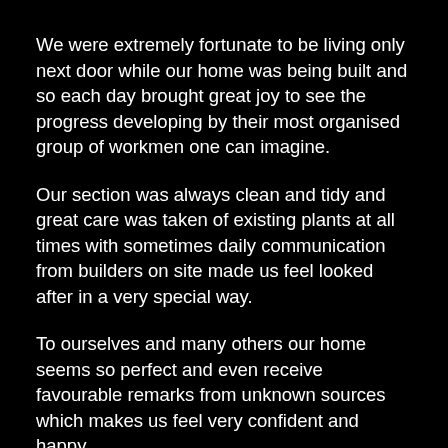We were extremely fortunate to be living only next door while our home was being built and so each day brought great joy to see the progress developing by their most organised group of workmen one can imagine.
Our section was always clean and tidy and great care was taken of existing plants at all times with sometimes daily communication from builders on site made us feel looked after in a very special way.
To ourselves and many others our home seems so perfect and even receive favourable remarks from unknown sources which makes us feel very confident and happy.
We would strongly recommend Metzger Builders to anyone considering not only a rebuild but any